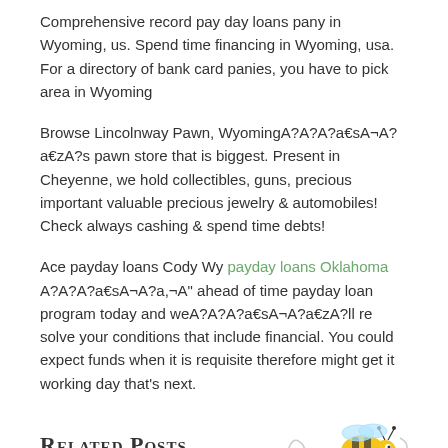Comprehensive record pay day loans pany in Wyoming, us. Spend time financing in Wyoming, usa. For a directory of bank card panies, you have to pick area in Wyoming
Browse Lincolnway Pawn, WyomingA?A?A?a€sA¬A?a€zA?s pawn store that is biggest. Present in Cheyenne, we hold collectibles, guns, precious important valuable precious jewelry & automobiles! Check always cashing & spend time debts!
Ace payday loans Cody Wy payday loans Oklahoma A?A?A?a€sA¬A?a,¬A" ahead of time payday loan program today and weA?A?A?a€sA¬A?a€zA?ll re solve your conditions that include financial. You could expect funds when it is requisite therefore might get it working day that's next.
Related Posts